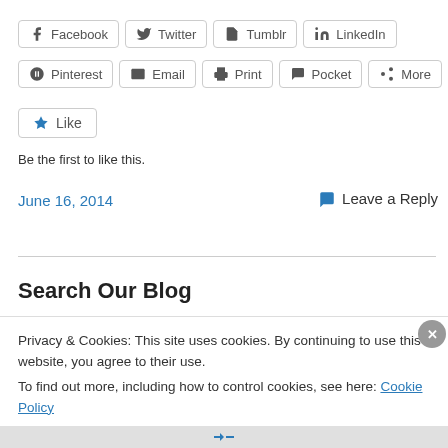[Figure (screenshot): Social share buttons row 1: Facebook, Twitter, Tumblr, LinkedIn]
[Figure (screenshot): Social share buttons row 2: Pinterest, Email, Print, Pocket, More]
[Figure (screenshot): Like button with star icon]
Be the first to like this.
June 16, 2014
Leave a Reply
Search Our Blog
Privacy & Cookies: This site uses cookies. By continuing to use this website, you agree to their use.
To find out more, including how to control cookies, see here: Cookie Policy